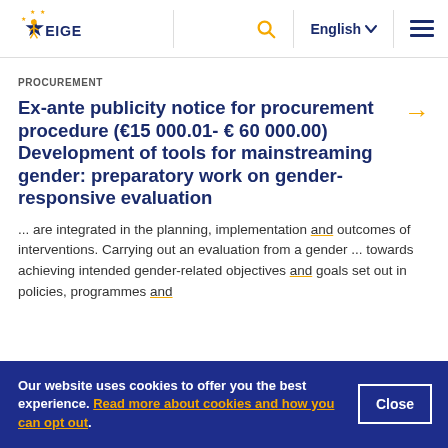EIGE logo | Search | English | Menu
PROCUREMENT
Ex-ante publicity notice for procurement procedure (€15 000.01- € 60 000.00) Development of tools for mainstreaming gender: preparatory work on gender-responsive evaluation
... are integrated in the planning, implementation and outcomes of interventions. Carrying out an evaluation from a gender ... towards achieving intended gender-related objectives and goals set out in policies, programmes and
Our website uses cookies to offer you the best experience. Read more about cookies and how you can opt out.